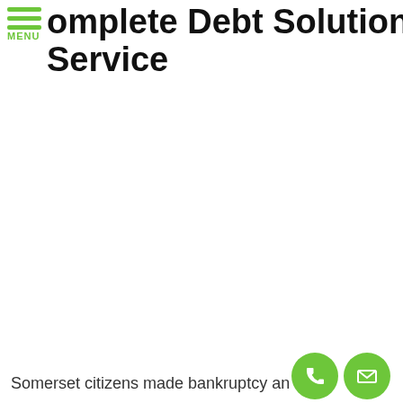Complete Debt Solution Service
Somerset citizens made bankruptcy an e...to...for